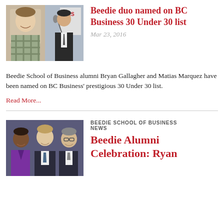[Figure (photo): Two photos side by side: left shows a young man in a plaid shirt smiling, right shows a man in a suit speaking at a podium with a microphone]
Beedie duo named on BC Business 30 Under 30 list
Mar 23, 2016
Beedie School of Business alumni Bryan Gallagher and Matias Marquez have been named on BC Business' prestigious 30 Under 30 list.
Read More...
[Figure (photo): Three men in suits smiling together at an event]
BEEDIE SCHOOL OF BUSINESS NEWS
Beedie Alumni Celebration: Ryan